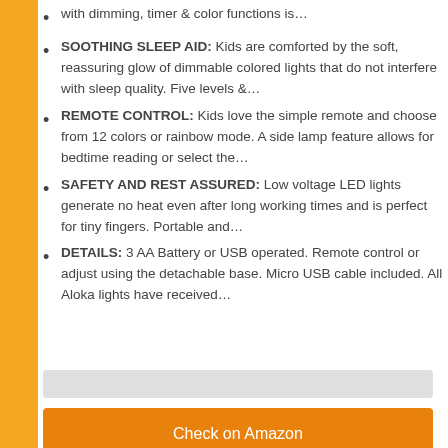with dimming, timer & color functions is…
SOOTHING SLEEP AID: Kids are comforted by the soft, reassuring glow of dimmable colored lights that do not interfere with sleep quality. Five levels &…
REMOTE CONTROL: Kids love the simple remote and choose from 12 colors or rainbow mode. A side lamp feature allows for bedtime reading or select the…
SAFETY AND REST ASSURED: Low voltage LED lights generate no heat even after long working times and is perfect for tiny fingers. Portable and…
DETAILS: 3 AA Battery or USB operated. Remote control or adjust using the detachable base. Micro USB cable included. All Aloka lights have received…